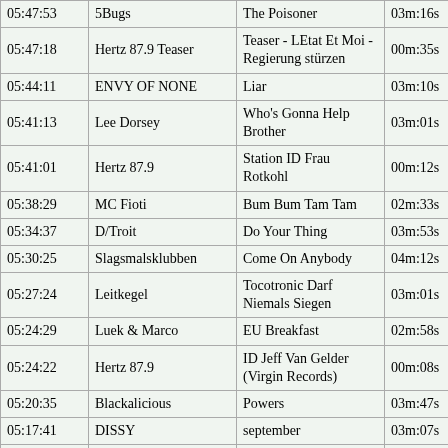| Time | Artist | Track | Duration |
| --- | --- | --- | --- |
| 05:47:53 | 5Bugs | The Poisoner | 03m:16s |
| 05:47:18 | Hertz 87.9 Teaser | Teaser - LEtat Et Moi - Regierung stürzen | 00m:35s |
| 05:44:11 | ENVY OF NONE | Liar | 03m:10s |
| 05:41:13 | Lee Dorsey | Who's Gonna Help Brother | 03m:01s |
| 05:41:01 | Hertz 87.9 | Station ID Frau Rotkohl | 00m:12s |
| 05:38:29 | MC Fioti | Bum Bum Tam Tam | 02m:33s |
| 05:34:37 | D/Troit | Do Your Thing | 03m:53s |
| 05:30:25 | Slagsmalsklubben | Come On Anybody | 04m:12s |
| 05:27:24 | Leitkegel | Tocotronic Darf Niemals Siegen | 03m:01s |
| 05:24:29 | Luek & Marco | EU Breakfast | 02m:58s |
| 05:24:22 | Hertz 87.9 | ID Jeff Van Gelder (Virgin Records) | 00m:08s |
| 05:20:35 | Blackalicious | Powers | 03m:47s |
| 05:17:41 | DISSY | september | 03m:07s |
| 05:17:04 | Hertz 87.9 Teaser | Teaser - LEtat Et Moi (Schweinehuhn) | 00m:37s |
| 05:13:20 | Fugees | Ready Or Not | 03m:47s |
| 05:10:26 | Sa-Roc | r(E)volution | 02m:57s |